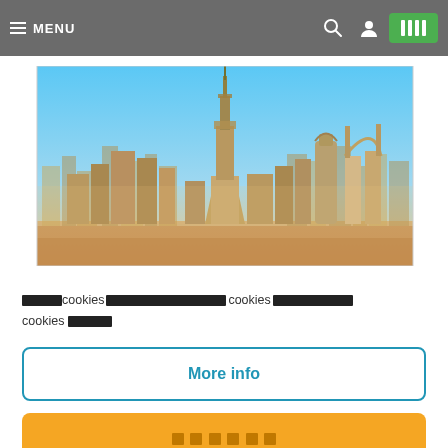≡ MENU
[Figure (photo): Aerial skyline photo of Dubai showing Burj Khalifa and surrounding skyscrapers with a warm hazy sky]
█████ cookies ████████████████████ cookies ██████████████ cookies ██████
More info
██████